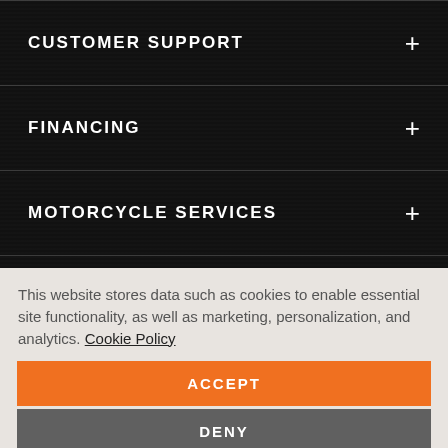CUSTOMER SUPPORT
FINANCING
MOTORCYCLE SERVICES
This website stores data such as cookies to enable essential site functionality, as well as marketing, personalization, and analytics. Cookie Policy
ACCEPT
DENY